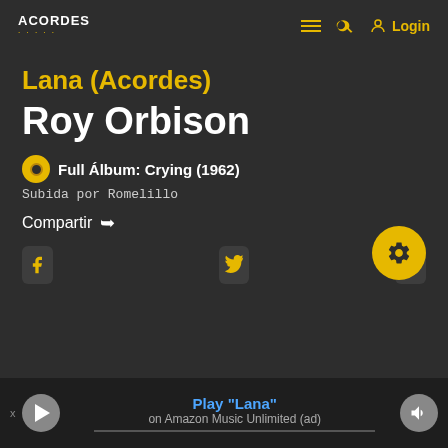ACORDES — hamburger menu, search, Login
Lana (Acordes)
Roy Orbison
Full Álbum: Crying (1962)
Subida por Romelillo
Compartir
[Figure (screenshot): Social share buttons: Facebook, Twitter, WhatsApp, and gear/settings button]
Play "Lana" on Amazon Music Unlimited (ad)